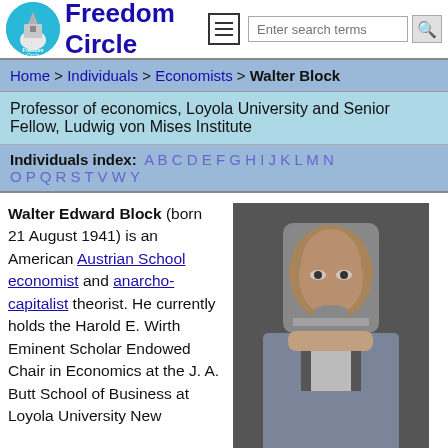Freedom Circle
Home > Individuals > Economists > Walter Block
Professor of economics, Loyola University and Senior Fellow, Ludwig von Mises Institute
Individuals index: A B C D E F G H I J K L M N O P Q R S T V W Y
Walter Edward Block (born 21 August 1941) is an American Austrian School economist and anarcho-capitalist theorist. He currently holds the Harold E. Wirth Eminent Scholar Endowed Chair in Economics at the J. A. Butt School of Business at Loyola University New
[Figure (photo): Photo of Walter Block, an older man with glasses and a beard wearing a suit and tie]